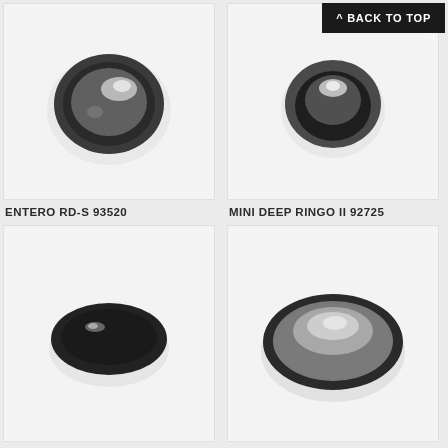[Figure (photo): Recessed ceiling spotlight ENTERO RD-S 93520 with dark metallic round trim, gimbal-style adjustable fixture, white background]
[Figure (photo): Recessed ceiling spotlight MINI DEEP RINGO II 92725 with dark round deep trim showing interior cone, white background]
ENTERO RD-S 93520
MINI DEEP RINGO II 92725
[Figure (photo): Recessed ceiling spotlight with very dark nearly flush black oval trim, glancingly lit, white background]
[Figure (photo): Recessed ceiling spotlight with large dark metallic oval trim showing reflective interior surface, white background]